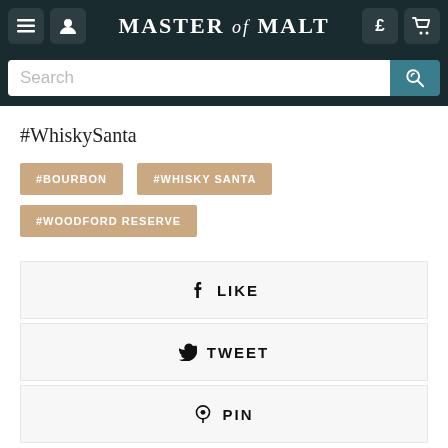Master of Malt
#WhiskySanta
#BOURBON
#WHISKY SANTA
#WOODFORD RESERVE
f  LIKE
TWEET
PIN